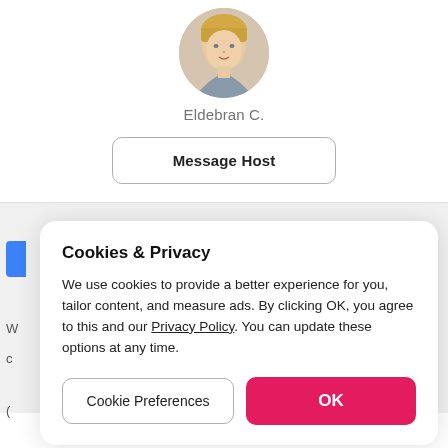[Figure (photo): Circular profile photo of a blonde woman]
Eldebran C.
Message Host
Cookies & Privacy
We use cookies to provide a better experience for you, tailor content, and measure ads. By clicking OK, you agree to this and our Privacy Policy. You can update these options at any time.
Cookie Preferences
OK